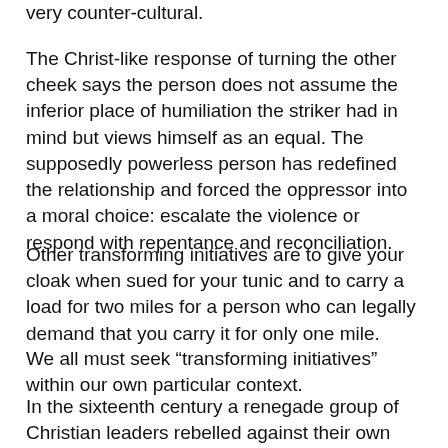very counter-cultural.
The Christ-like response of turning the other cheek says the person does not assume the inferior place of humiliation the striker had in mind but views himself as an equal. The supposedly powerless person has redefined the relationship and forced the oppressor into a moral choice: escalate the violence or respond with repentance and reconciliation.
Other transforming initiatives are to give your cloak when sued for your tunic and to carry a load for two miles for a person who can legally demand that you carry it for only one mile.
We all must seek “transforming initiatives” within our own particular context.
In the sixteenth century a renegade group of Christian leaders rebelled against their own religion